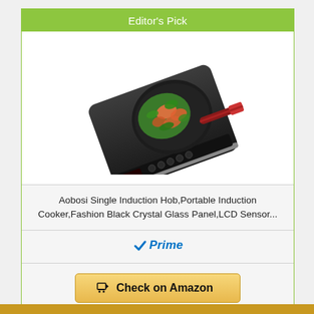Editor's Pick
[Figure (photo): Aobosi single induction hob cooker with black crystal glass panel, with a frying pan containing stir-fried vegetables and shrimp on top]
Aobosi Single Induction Hob,Portable Induction Cooker,Fashion Black Crystal Glass Panel,LCD Sensor...
[Figure (logo): Amazon Prime checkmark logo with text 'Prime' in blue italic]
Check on Amazon